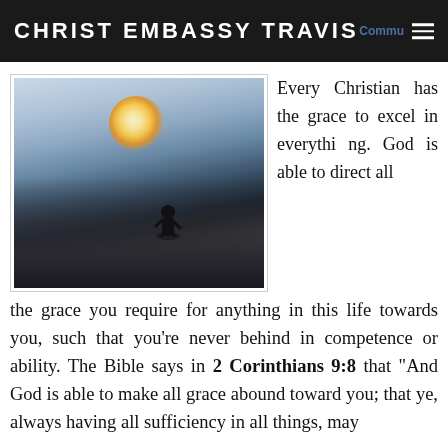CHRIST EMBASSY TRAVIS
[Figure (photo): Silhouette of a person climbing a rocky mountain peak with a bright sunburst behind them and dramatic sky in background]
Every Christian has the grace to excel in everything. God is able to direct all the grace you require for anything in this life towards you, such that you're never behind in competence or ability. The Bible says in 2 Corinthians 9:8 that "And God is able to make all grace abound toward you; that ye, always having all sufficiency in all things, may